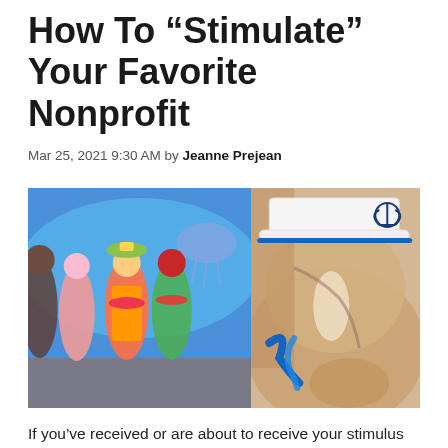How To “Stimulate” Your Favorite Nonprofit
Mar 25, 2021 9:30 AM by Jeanne Prejean
[Figure (photo): Two photos side by side: left shows performers in tropical/Hawaiian costumes on a stage with a blue background; right shows a close-up of a horse wearing a white sailor hat with an anchor emblem and blue rope reins.]
If you’ve received or are about to receive your stimulus check, why not put it to good use? Sure, you could tuck it